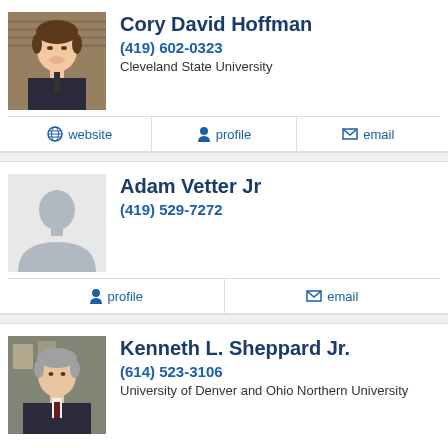[Figure (photo): Headshot photo of Cory David Hoffman, young man smiling, brown hair, suit and tie]
Cory David Hoffman
(419) 602-0323
Cleveland State University
website  profile  email
[Figure (photo): Placeholder silhouette photo for Adam Vetter Jr]
Adam Vetter Jr
(419) 529-7272
profile  email
[Figure (photo): Headshot photo of Kenneth L. Sheppard Jr., older man in suit, office background with diplomas]
Kenneth L. Sheppard Jr.
(614) 523-3106
University of Denver and Ohio Northern University